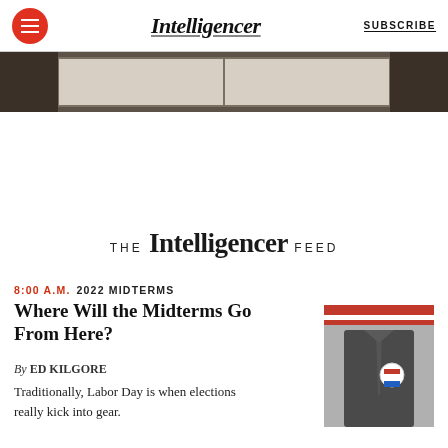Intelligencer | SUBSCRIBE
[Figure (photo): Cropped hero image showing partial view of a framed photograph or document on a dark background]
THE Intelligencer FEED
8:00 A.M.  2022 MIDTERMS
Where Will the Midterms Go From Here?
By ED KILGORE
Traditionally, Labor Day is when elections really kick into gear.
[Figure (photo): Black and white photo of a man in a suit with an American flag lapel pin and I Voted sticker, arms crossed, with red and white striped background at top]